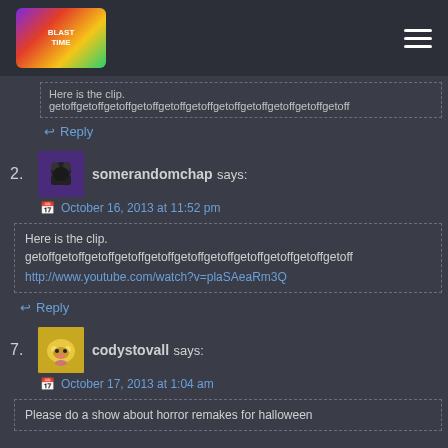Blast Time (logo) + hamburger menu
Here is the clip. getoffgetoffgetoffgetoffgetoffgetoffgetoffgetoffgetoffgetoffgetoff
Reply
2. somerandomchap says:
October 16, 2013 at 11:52 pm
Here is the clip.
getoffgetoffgetoffgetoffgetoffgetoffgetoffgetoffgetoffgetoffgetoff
http://www.youtube.com/watch?v=plaSAeaRm3Q
Reply
7. codystovall says:
October 17, 2013 at 1:04 am
Please do a show about horror remakes for halloween